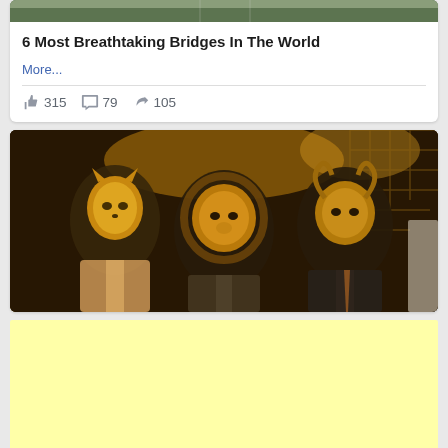[Figure (screenshot): Top cropped portion of a bridge/aerial photo]
6 Most Breathtaking Bridges In The World
More...
315  79  105 (likes, comments, shares)
[Figure (photo): Three people wearing ornate gold animal masks (cat, lion, ram) in formal attire against a dark decorative background]
[Figure (other): Light yellow advertisement banner area]